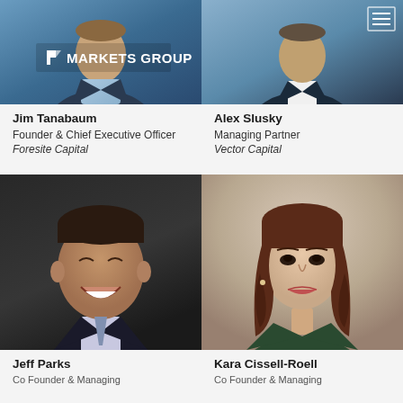[Figure (photo): Photo of Jim Tanabaum, man in suit, with Markets Group logo overlay]
Jim Tanabaum
Founder & Chief Executive Officer
Foresite Capital
[Figure (photo): Photo of Alex Slusky, man in suit, with hamburger menu icon]
Alex Slusky
Managing Partner
Vector Capital
[Figure (photo): Photo of Jeff Parks, smiling man in dark suit]
Jeff Parks
Co Founder & Managing
[Figure (photo): Photo of Kara Cissell-Roell, woman with brown hair in green jacket]
Kara Cissell-Roell
Co Founder & Managing